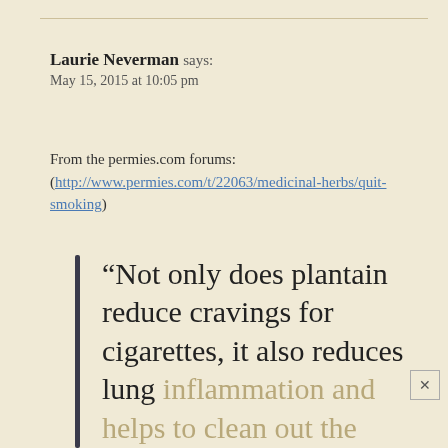Laurie Neverman says:
May 15, 2015 at 10:05 pm
From the permies.com forums:
(http://www.permies.com/t/22063/medicinal-herbs/quit-smoking)
“Not only does plantain reduce cravings for cigarettes, it also reduces lung inflammation and helps to clean out the